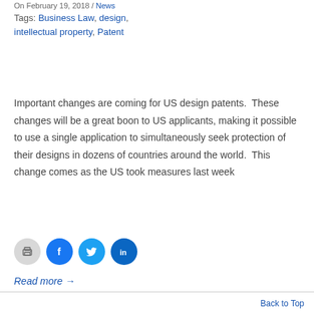On February 19, 2018 / News
Tags: Business Law, design, intellectual property, Patent
Important changes are coming for US design patents.  These changes will be a great boon to US applicants, making it possible to use a single application to simultaneously seek protection of their designs in dozens of countries around the world.  This change comes as the US took measures last week
[Figure (other): Social sharing icons: print (gray circle), Facebook (blue circle with f), Twitter (cyan circle with bird), LinkedIn (dark blue circle with in)]
Read more →
Back to Top